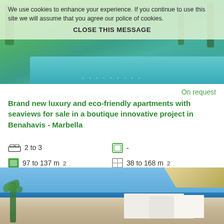[Figure (photo): Aerial view of luxury resort with pool, palm trees, and green landscaping. Cookie consent overlay on top.]
We use cookies to enhance your experience. If you continue to use this site we will assume that you agree our police of cookies.
CLOSE THIS MESSAGE
On request
Brand new luxury and eco-friendly apartments with seaviews for sale in a boutique innovative project in Benahavis - Marbella
2 to 3 (bedrooms)
- (bathrooms)
97 to 137 m²
38 to 168 m²
[Figure (photo): Coastal real estate development with white buildings near the sea under blue sky, with palm trees in foreground.]